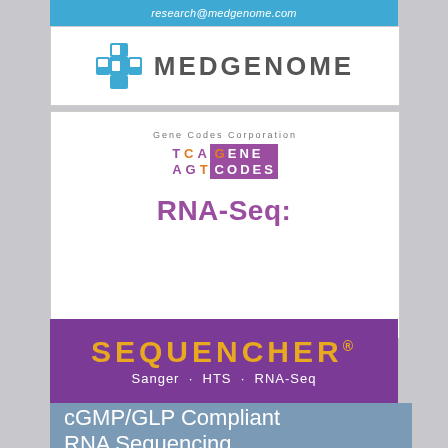research@medgenome.com
[Figure (logo): MedGenome logo with blue cross/plus symbol and MEDGENOME text in gray]
[Figure (logo): Gene Codes Corporation logo with TCA/AGT DNA letters, purple and orange, with GENE CODES in purple box]
RNA-Seq:
[Figure (logo): SEQUENCHER logo in orange on purple background with tagline Sanger · HTS · RNA-Seq]
cGMP/GLP Compliant RNA Sequencing